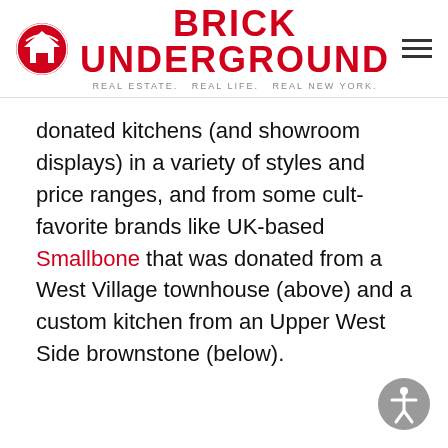BRICK UNDERGROUND — REAL ESTATE. REAL LIFE. REAL NEW YORK.
donated kitchens (and showroom displays) in a variety of styles and price ranges, and from some cult-favorite brands like UK-based Smallbone that was donated from a West Village townhouse (above) and a custom kitchen from an Upper West Side brownstone (below).